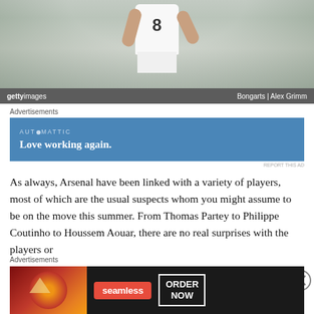[Figure (photo): Soccer/football player wearing white jersey with number 8, running on field. Getty Images watermark with credit to Bongarts | Alex Grimm.]
Advertisements
[Figure (screenshot): Advertisement banner: AUTOMATTIC logo, text 'Love working again.']
REPORT THIS AD
As always, Arsenal have been linked with a variety of players, most of which are the usual suspects whom you might assume to be on the move this summer. From Thomas Partey to Philippe Coutinho to Houssem Aouar, there are no real surprises with the players or
Advertisements
[Figure (screenshot): Advertisement banner for Seamless food delivery: pizza image on left, Seamless logo in red badge, ORDER NOW button on right.]